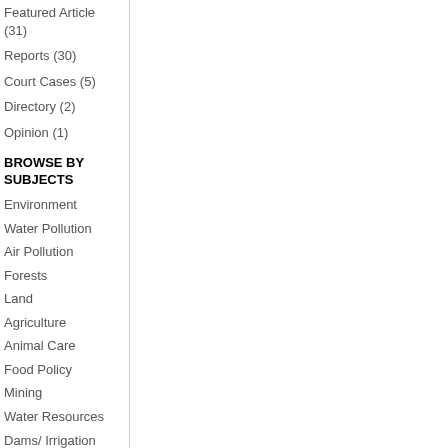Featured Article (31)
Reports (30)
Court Cases (5)
Directory (2)
Opinion (1)
BROWSE BY SUBJECTS
Environment
Water Pollution
Air Pollution
Forests
Land
Agriculture
Animal Care
Food Policy
Mining
Water Resources
Dams/ Irrigation
Fisheries
Atmosphere And Ozone Layer